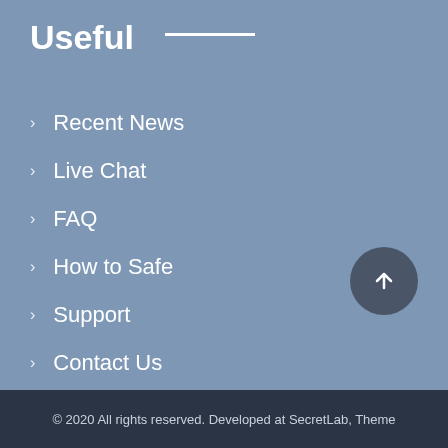Useful
Recent News
Live Chat
FAQ
How to Safe
Support
Contact Us
© 2020 All rights reserved. Developed at SecretLab, Theme